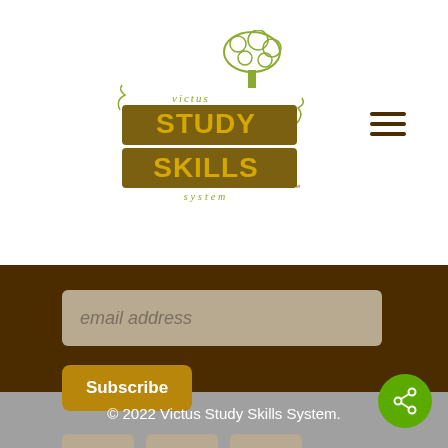[Figure (logo): Victus Study Skills System logo with tree illustration and stylized text]
[Figure (illustration): Hamburger menu icon (three horizontal lines) in dark brown]
email address
Subscribe
[Figure (illustration): Social media icons: Facebook, YouTube, Twitter in tan/brown rounded squares]
[Figure (illustration): Green circular share button with share icon]
© 2022 Victus Study Skills System.